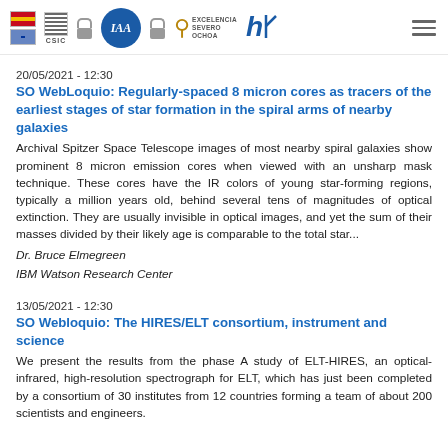IAA CSIC header with logos: Spanish flag, UK flag, CSIC, lock icon, IAA logo, lock icon, Excelencia Severo Ochoa key logo, HR logo, hamburger menu
20/05/2021 - 12:30
SO WebLoquio: Regularly-spaced 8 micron cores as tracers of the earliest stages of star formation in the spiral arms of nearby galaxies
Archival Spitzer Space Telescope images of most nearby spiral galaxies show prominent 8 micron emission cores when viewed with an unsharp mask technique. These cores have the IR colors of young star-forming regions, typically a million years old, behind several tens of magnitudes of optical extinction. They are usually invisible in optical images, and yet the sum of their masses divided by their likely age is comparable to the total star...
Dr. Bruce Elmegreen
IBM Watson Research Center
13/05/2021 - 12:30
SO Webloquio: The HIRES/ELT consortium, instrument and science
We present the results from the phase A study of ELT-HIRES, an optical-infrared, high-resolution spectrograph for ELT, which has just been completed by a consortium of 30 institutes from 12 countries forming a team of about 200 scientists and engineers.